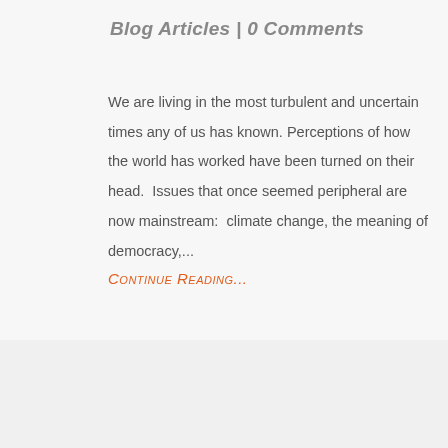Blog Articles | 0 Comments
We are living in the most turbulent and uncertain times any of us has known. Perceptions of how the world has worked have been turned on their head.  Issues that once seemed peripheral are now mainstream:  climate change, the meaning of democracy,...
Continue Reading...
[Figure (photo): Orange date badge showing 'Oct 16, 2020' overlaid on a photo of colorful smiling pencils arranged in a row against a light gray background]